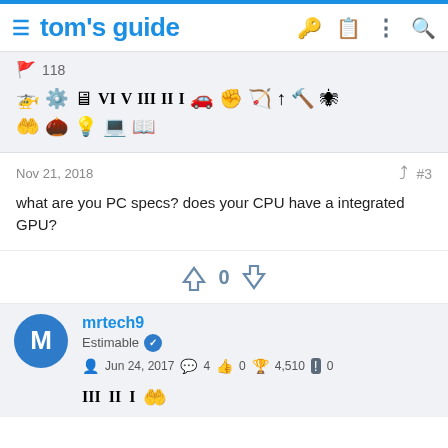tom's guide
[Figure (screenshot): Badge icons row showing various achievement badges and a count of 118]
Nov 21, 2018   #3
what are you PC specs? does your CPU have a integrated GPU?
0
mrtech9 Estimable  Jun 24, 2017  4  0  4,510  0